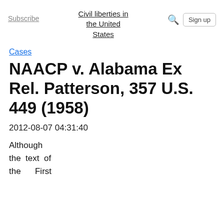Subscribe | Civil liberties in the United States | Sign up
Cases
NAACP v. Alabama Ex Rel. Patterson, 357 U.S. 449 (1958)
2012-08-07 04:31:40
Although
the  text  of
the       First